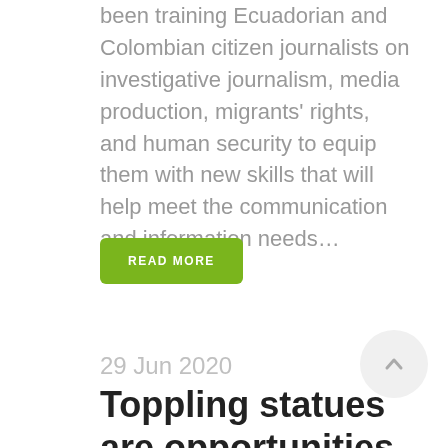been training Ecuadorian and Colombian citizen journalists on investigative journalism, media production, migrants' rights, and human security to equip them with new skills that will help meet the communication and information needs...
READ MORE
29 Jun 2020 Toppling statues are opportunities for